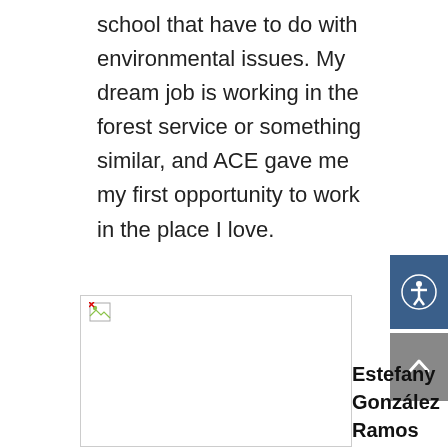school that have to do with environmental issues. My dream job is working in the forest service or something similar, and ACE gave me my first opportunity to work in the place I love.
[Figure (photo): Broken/unloaded image placeholder with small broken image icon in top-left corner]
Estefany González Ramos
Hello! My name is Estefany